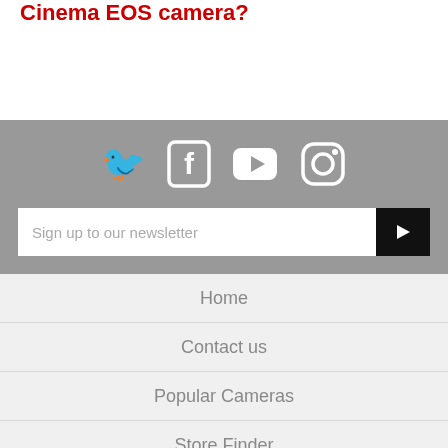Cinema EOS camera?
[Figure (illustration): Social media icons: Twitter bird, Facebook f, YouTube play button, Instagram camera - white icons on gray background]
Sign up to our newsletter
Home
Contact us
Popular Cameras
Store Finder
My Account